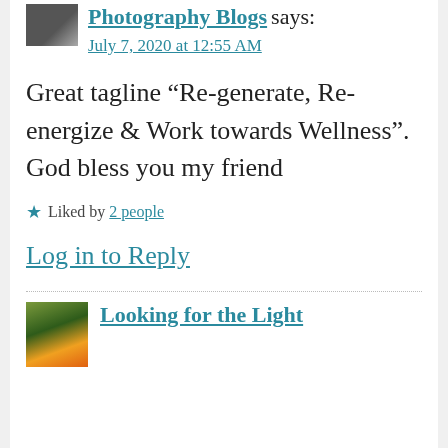Photography Blogs says:
July 7, 2020 at 12:55 AM
Great tagline “Re-generate, Re-energize & Work towards Wellness”. God bless you my friend
★ Liked by 2 people
Log in to Reply
Looking for the Light